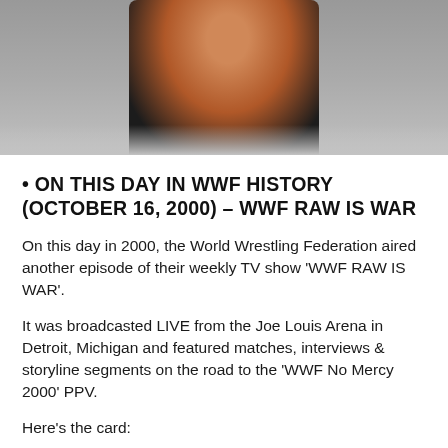[Figure (photo): Photo of a person with long hair wearing dark clothing, partially visible against a gradient gray background]
• ON THIS DAY IN WWF HISTORY (OCTOBER 16, 2000) – WWF RAW IS WAR
On this day in 2000, the World Wrestling Federation aired another episode of their weekly TV show 'WWF RAW IS WAR'.
It was broadcasted LIVE from the Joe Louis Arena in Detroit, Michigan and featured matches, interviews & storyline segments on the road to the 'WWF No Mercy 2000' PPV.
Here's the card:
1. WWF Intercontinental Title: Eddie Guerrero vs. Chris Jericho